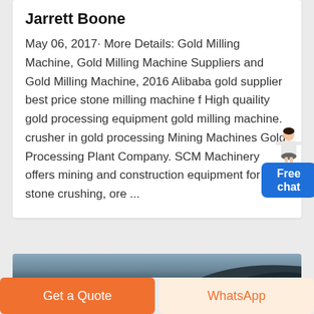Jarrett Boone
May 06, 2017· More Details: Gold Milling Machine, Gold Milling Machine Suppliers and Gold Milling Machine, 2016 Alibaba gold supplier best price stone milling machine f High quaility gold processing equipment gold milling machine. crusher in gold processing Mining Machines Gold Processing Plant Company. SCM Machinery offers mining and construction equipment for stone crushing, ore ...
[Figure (photo): Outdoor scene with sky and dark hillside silhouette]
Get a Quote
WhatsApp